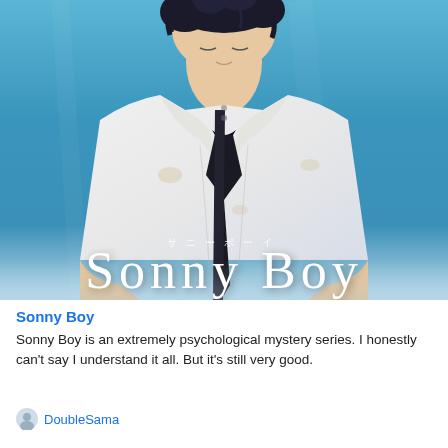[Figure (illustration): Anime-style illustration of a young male character with dark messy hair wearing a dirty white button-up shirt with a loose black tie, set against a blue gradient background. The title 'Sonny Boy' appears in large white serif letters at the bottom, with Japanese katakana 'サニーボーイ' above it.]
Sonny Boy
Sonny Boy is an extremely psychological mystery series. I honestly can't say I understand it all. But it's still very good.
DoubleSama